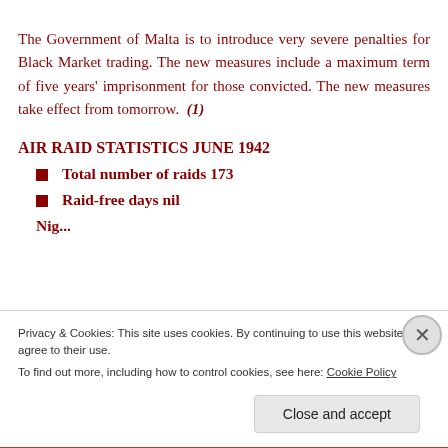The Government of Malta is to introduce very severe penalties for Black Market trading. The new measures include a maximum term of five years' imprisonment for those convicted. The new measures take effect from tomorrow. (1)
AIR RAID STATISTICS JUNE 1942
Total number of raids 173
Raid-free days nil